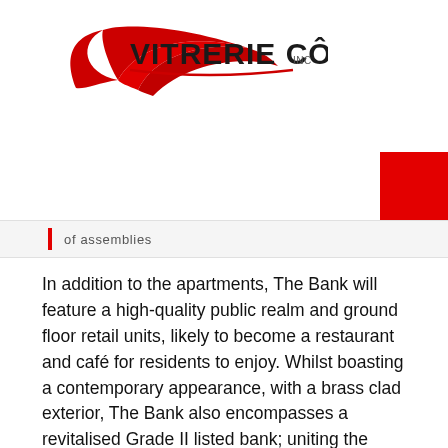[Figure (logo): Vitrerie Côté Inc. logo with red swoosh graphic and black text]
of assemblies
In addition to the apartments, The Bank will feature a high-quality public realm and ground floor retail units, likely to become a restaurant and café for residents to enjoy. Whilst boasting a contemporary appearance, with a brass clad exterior, The Bank also encompasses a revitalised Grade II listed bank; uniting the area's heritage with its future.
Moving forward, construction is also underway on the